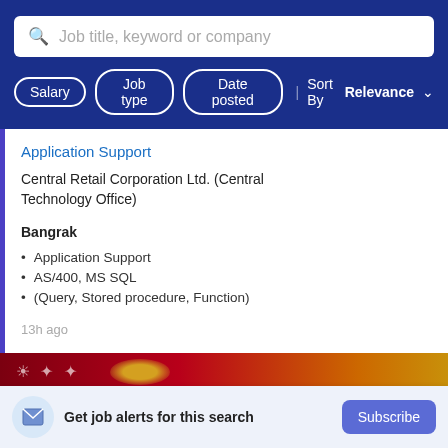Job title, keyword or company
Salary | Job type | Date posted | Sort By Relevance
Application Support
Central Retail Corporation Ltd. (Central Technology Office)
Bangrak
Application Support
AS/400, MS SQL
(Query, Stored procedure, Function)
13h ago
[Figure (photo): Partial banner image with red/gold background]
Get job alerts for this search